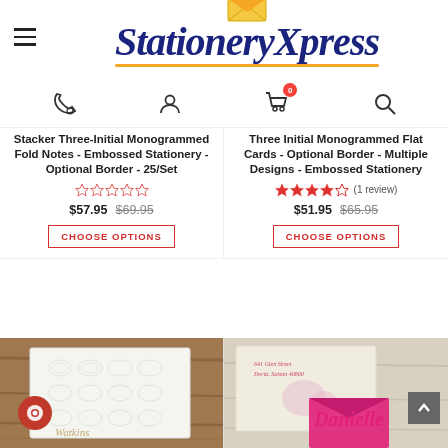[Figure (logo): StationeryXpress logo with envelope icon, dark blue italic serif font, gold underline]
[Figure (infographic): Navigation icons: phone, person/account, shopping cart with 0 badge, search/magnify]
Stacker Three-Initial Monogrammed Fold Notes - Embossed Stationery - Optional Border - 25/Set
[Figure (infographic): Five empty/outline star rating icons in red/pink]
$57.95 $69.95
CHOOSE OPTIONS
Three Initial Monogrammed Flat Cards - Optional Border - Multiple Designs - Embossed Stationery
[Figure (infographic): Four filled red stars and one outline star rating, (1 review)]
$51.95 $65.95
CHOOSE OPTIONS
[Figure (photo): Close-up photo of white embossed stationery card on brown wood surface, with 'Watkins' signature text visible, and red chat bubble icon overlay]
[Figure (photo): Photo of cream stationery with pink floral design and 'Danielle' name in pink script, pink envelope, with scroll-to-top arrow button overlay]